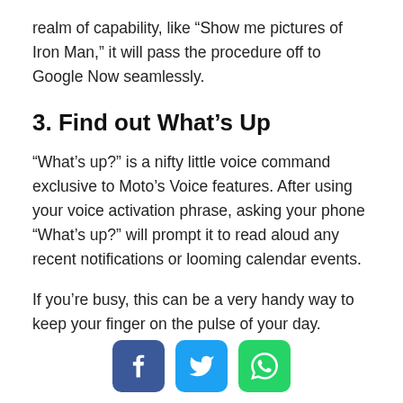realm of capability, like “Show me pictures of Iron Man,” it will pass the procedure off to Google Now seamlessly.
3. Find out What’s Up
“What’s up?” is a nifty little voice command exclusive to Moto’s Voice features. After using your voice activation phrase, asking your phone “What’s up?” will prompt it to read aloud any recent notifications or looming calendar events.
If you’re busy, this can be a very handy way to keep your finger on the pulse of your day.
[Figure (infographic): Social sharing buttons: Facebook (blue), Twitter (cyan), WhatsApp (green)]